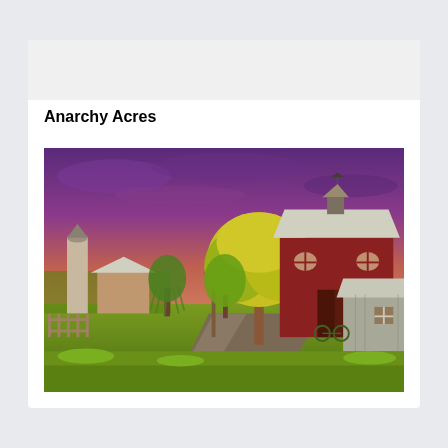Anarchy Acres
[Figure (screenshot): A Fortnite video game screenshot showing the Anarchy Acres location — a farm scene with a large red barn with white roof, smaller outbuildings, yellow-green trees, a weeping willow, a grain silo, green grass, and a dramatic purple/magenta sky.]